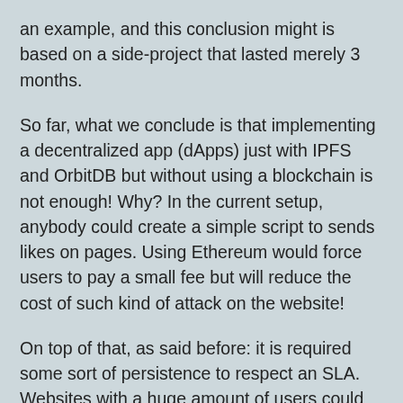an example, and this conclusion might is based on a side-project that lasted merely 3 months.
So far, what we conclude is that implementing a decentralized app (dApps) just with IPFS and OrbitDB but without using a blockchain is not enough! Why? In the current setup, anybody could create a simple script to sends likes on pages. Using Ethereum would force users to pay a small fee but will reduce the cost of such kind of attack on the website!
On top of that, as said before: it is required some sort of persistence to respect an SLA. Websites with a huge amount of users could afford to have dApps (or components), but to have replicas is also required on Web 2.0 services to ensure an SLA.